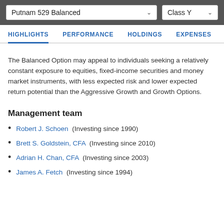Putnam 529 Balanced   Class Y
HIGHLIGHTS  PERFORMANCE  HOLDINGS  EXPENSES
The Balanced Option may appeal to individuals seeking a relatively constant exposure to equities, fixed-income securities and money market instruments, with less expected risk and lower expected return potential than the Aggressive Growth and Growth Options.
Management team
Robert J. Schoen  (Investing since 1990)
Brett S. Goldstein, CFA  (Investing since 2010)
Adrian H. Chan, CFA  (Investing since 2003)
James A. Fetch  (Investing since 1994)